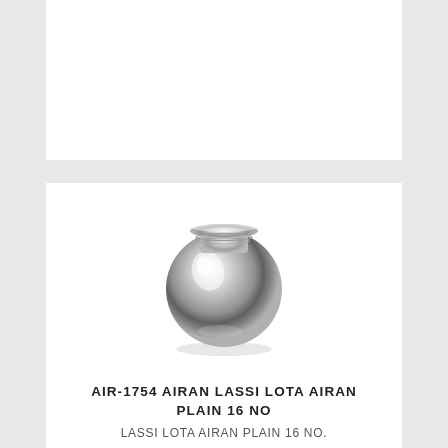[Figure (photo): A stainless steel Lassi Lota (traditional Indian pot) with a round body, flared rim, and highly polished mirror finish, photographed on a white background.]
AIR-1754 AIRAN LASSI LOTA AIRAN PLAIN 16 NO
LASSI LOTA AIRAN PLAIN 16 NO.